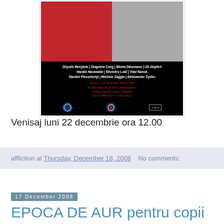[Figure (photo): Exhibition poster with two figures (one on red background left, one on grey right), artist names listed in white bold text, event details in red text, and logos at bottom]
Venisaj luni 22 decembrie ora 12.00
affliction at Thursday, December 18, 2008   No comments:
17 December 2008
EPOCA DE AUR pentru copii